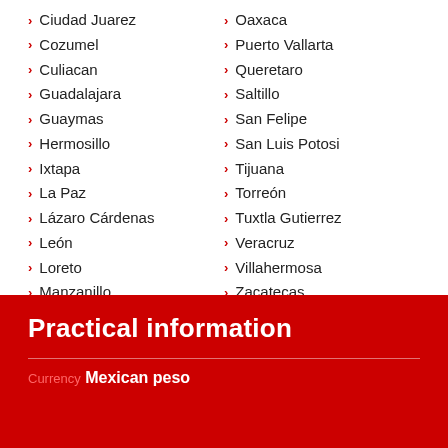Ciudad Juarez
Cozumel
Culiacan
Guadalajara
Guaymas
Hermosillo
Ixtapa
La Paz
Lázaro Cárdenas
León
Loreto
Manzanillo
Oaxaca
Puerto Vallarta
Queretaro
Saltillo
San Felipe
San Luis Potosi
Tijuana
Torreón
Tuxtla Gutierrez
Veracruz
Villahermosa
Zacatecas
Practical information
Currency
Mexican peso